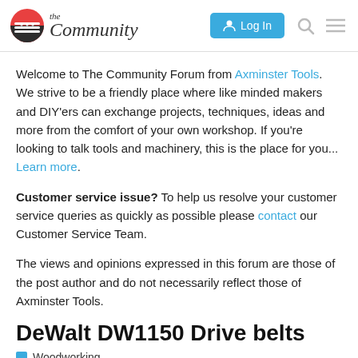the Community — Log In
Welcome to The Community Forum from Axminster Tools. We strive to be a friendly place where like minded makers and DIY'ers can exchange projects, techniques, ideas and more from the comfort of your own workshop. If you're looking to talk tools and machinery, this is the place for you... Learn more.
Customer service issue? To help us resolve your customer service queries as quickly as possible please contact our Customer Service Team.
The views and opinions expressed in this forum are those of the post author and do not necessarily reflect those of Axminster Tools.
DeWalt DW1150 Drive belts
Woodworking